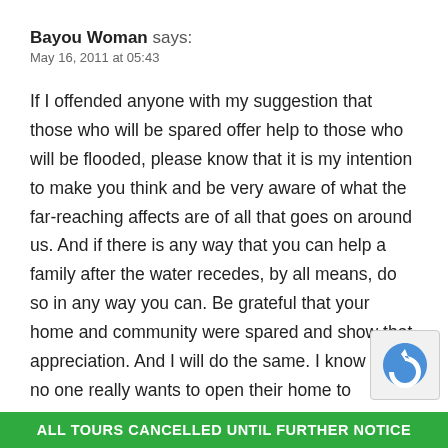Bayou Woman says:
May 16, 2011 at 05:43
If I offended anyone with my suggestion that those who will be spared offer help to those who will be flooded, please know that it is my intention to make you think and be very aware of what the far-reaching affects are of all that goes on around us. And if there is any way that you can help a family after the water recedes, by all means, do so in any way you can. Be grateful that your home and community were spared and show that appreciation. And I will do the same. I know that no one really wants to open their home to strangers, but as one reader stated, you can do to a disaster recovery organization that has a g
ALL TOURS CANCELLED UNTIL FURTHER NOTICE